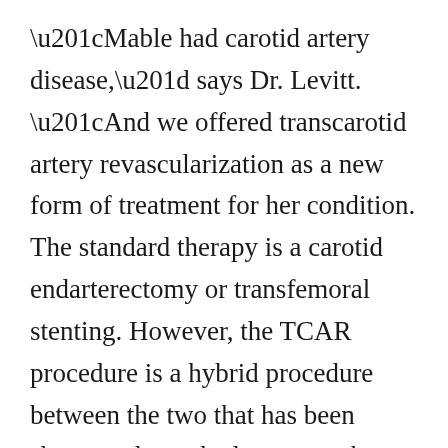“Mable had carotid artery disease,” says Dr. Levitt. “And we offered transcarotid artery revascularization as a new form of treatment for her condition. The standard therapy is a carotid endarterectomy or transfemoral stenting. However, the TCAR procedure is a hybrid procedure between the two that has been shown to have the lowest stroke rate of all procedures available for carotid artery disease.”
The TCAR procedure is performed through a small incision at the neckline